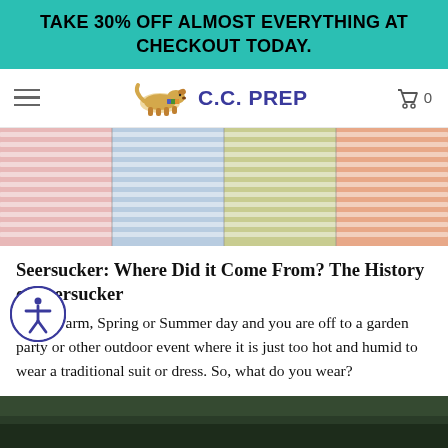TAKE 30% OFF ALMOST EVERYTHING AT CHECKOUT TODAY.
[Figure (screenshot): Navigation bar with hamburger menu, C.C. PREP logo with illustrated running dog, and cart icon showing 0 items]
[Figure (photo): Four rolls of seersucker fabric in pink, blue, yellow/green, and coral/salmon striped patterns]
Seersucker: Where Did it Come From? The History of Seersucker
It is a warm, Spring or Summer day and you are off to a garden party or other outdoor event where it is just too hot and humid to wear a traditional suit or dress. So, what do you wear?
[Figure (photo): Bottom portion of an outdoor photo, partially visible, dark tones suggesting grass or garden setting]